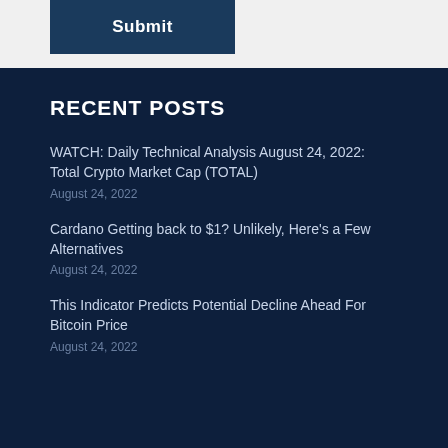Submit
RECENT POSTS
WATCH: Daily Technical Analysis August 24, 2022: Total Crypto Market Cap (TOTAL)
August 24, 2022
Cardano Getting back to $1? Unlikely, Here's a Few Alternatives
August 24, 2022
This Indicator Predicts Potential Decline Ahead For Bitcoin Price
August 24, 2022